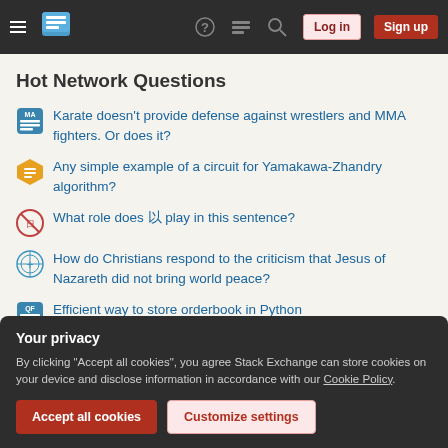Stack Exchange navigation bar with hamburger menu, logo, help, chat, search icons, Log in and Sign up buttons
Hot Network Questions
Karate doesn't provide defense against wrestlers and MMA fighters. Or does it?
Any simple example of a circuit for Yamakawa-Zhandry algorithm?
What role does 以 play in this sentence?
How do Christians respond to the criticism that Jesus of Nazareth did not bring world peace?
Efficient way to store orderbook in Python
Why does 'luck out' have the completely opposite meaning to 'out of luck'?
Your privacy
By clicking "Accept all cookies", you agree Stack Exchange can store cookies on your device and disclose information in accordance with our Cookie Policy.
Accept all cookies  Customize settings